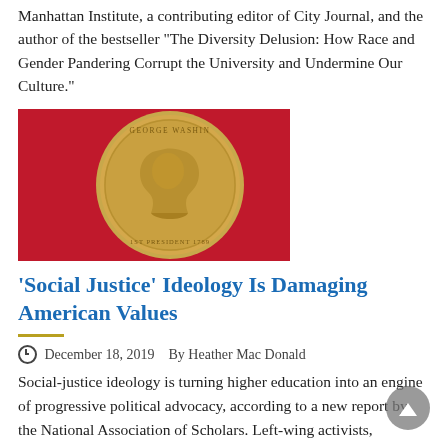Manhattan Institute, a contributing editor of City Journal, and the author of the bestseller "The Diversity Delusion: How Race and Gender Pandering Corrupt the University and Undermine Our Culture."
[Figure (photo): A George Washington presidential dollar coin against a red background. The coin shows Washington's profile with the text 'GEORGE WASHINGTON' and '1ST PRESIDENT 1789'.]
'Social Justice' Ideology Is Damaging American Values
December 18, 2019   By Heather Mac Donald
Social-justice ideology is turning higher education into an engine of progressive political advocacy, according to a new report by the National Association of Scholars. Left-wing activists, masquerading as professors, are infiltrating